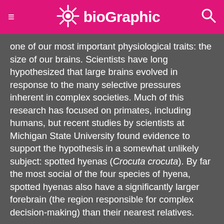bioGraphic
one of our most important physiological traits: the size of our brains. Scientists have long hypothesized that large brains evolved in response to the many selective pressures inherent in complex societies. Much of this research has focused on primates, including humans, but recent studies by scientists at Michigan State University found evidence to support the hypothesis in a somewhat unlikely subject: spotted hyenas (Crocuta crocuta). By far the most social of the four species of hyena, spotted hyenas also have a significantly larger forebrain (the region responsible for complex decision-making) than their nearest relatives.
Native throughout much of sub-Saharan Africa, spotted hyenas live in large